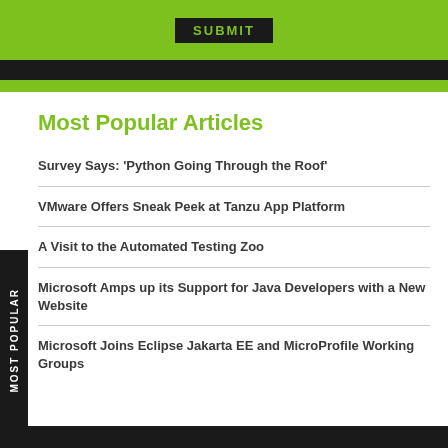SUBMIT
Most Popular Articles
Survey Says: 'Python Going Through the Roof'
VMware Offers Sneak Peek at Tanzu App Platform
A Visit to the Automated Testing Zoo
Microsoft Amps up its Support for Java Developers with a New Website
Microsoft Joins Eclipse Jakarta EE and MicroProfile Working Groups